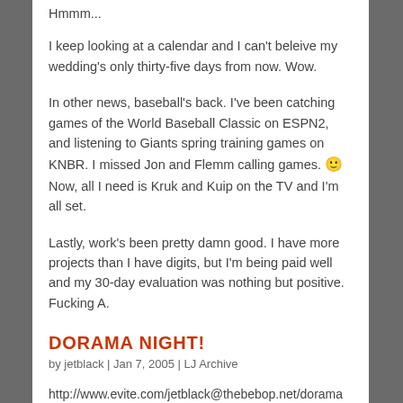Hmmm...
I keep looking at a calendar and I can't beleive my wedding's only thirty-five days from now. Wow.
In other news, baseball's back. I've been catching games of the World Baseball Classic on ESPN2, and listening to Giants spring training games on KNBR. I missed Jon and Flemm calling games. 🙂 Now, all I need is Kruk and Kuip on the TV and I'm all set.
Lastly, work's been pretty damn good. I have more projects than I have digits, but I'm being paid well and my 30-day evaluation was nothing but positive. Fucking A.
DORAMA NIGHT!
by jetblack | Jan 7, 2005 | LJ Archive
http://www.evite.com/jetblack@thebebop.net/dorama
For those local to me, feel free to click and invite yourself